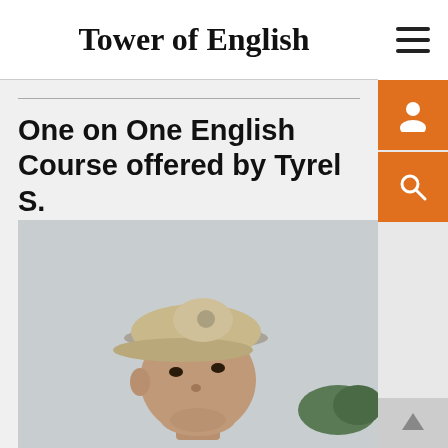Tower of English
One on One English Course offered by Tyrel S.
Vocational Archaeologist and Language Learner
[Figure (photo): A man wearing a tan/beige baseball cap, looking upward, photographed outdoors with a cloudy sky and distant mountains or trees in the background.]